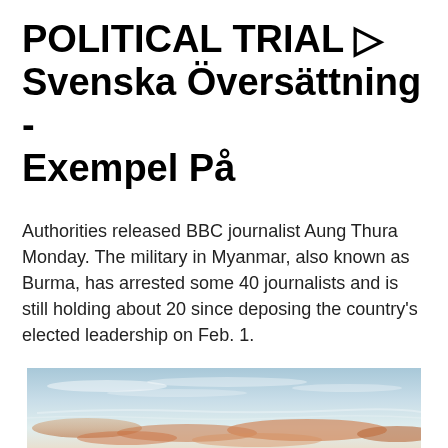POLITICAL TRIAL ▷ Svenska Översättning - Exempel På
Authorities released BBC journalist Aung Thura Monday. The military in Myanmar, also known as Burma, has arrested some 40 journalists and is still holding about 20 since deposing the country's elected leadership on Feb. 1.
[Figure (photo): Sky photograph showing a light blue sky with wispy clouds and warm orange-pink tinted clouds near the horizon]